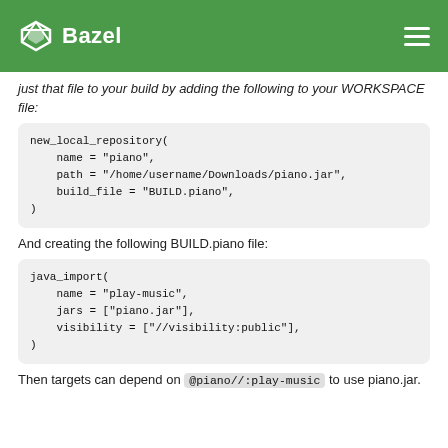Bazel
just that file to your build by adding the following to your WORKSPACE file:
new_local_repository(
    name = "piano",
    path = "/home/username/Downloads/piano.jar",
    build_file = "BUILD.piano",
)
And creating the following BUILD.piano file:
java_import(
    name = "play-music",
    jars = ["piano.jar"],
    visibility = ["//visibility:public"],
)
Then targets can depend on @piano//:play-music to use piano.jar.